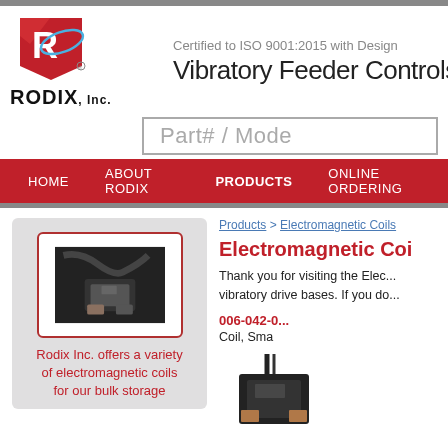[Figure (logo): Rodix Inc. logo with red R shield and blue orbit ring, with RODIX Inc. text below]
Certified to ISO 9001:2015 with Design
Vibratory Feeder Controls a
Part# / Mode
HOME   ABOUT RODIX   PRODUCTS   ONLINE ORDERING
Products > Electromagnetic Coils
Electromagnetic Coi
Thank you for visiting the Elec... vibratory drive bases. If you do...
[Figure (photo): Electromagnetic coil product photo in a red-bordered box on gray background]
Rodix Inc. offers a variety of electromagnetic coils for our bulk storage
006-042-0  Coil, Sma
[Figure (photo): Black electromagnetic coil component photo]